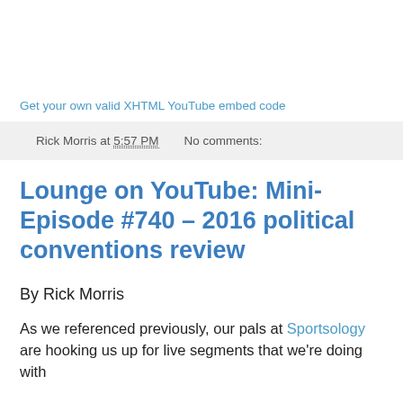Get your own valid XHTML YouTube embed code
Rick Morris at 5:57 PM   No comments:
Lounge on YouTube: Mini-Episode #740 – 2016 political conventions review
By Rick Morris
As we referenced previously, our pals at Sportsology are hooking us up for live segments that we're doing with